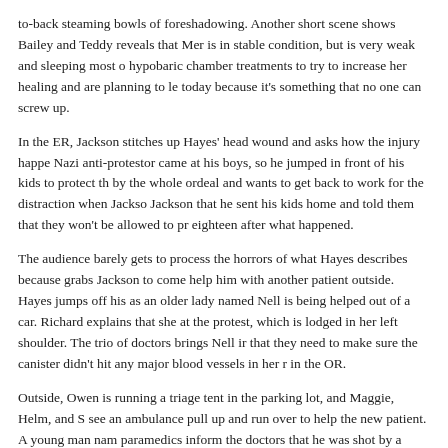to-back steaming bowls of foreshadowing. Another short scene shows Bailey and Teddy reveals that Mer is in stable condition, but is very weak and sleeping most of the time. They are doing hypobaric chamber treatments to try to increase her healing and are planning to leave her as she is today because it's something that no one can screw up.
In the ER, Jackson stitches up Hayes' head wound and asks how the injury happened. Hayes says a Nazi anti-protestor came at his boys, so he jumped in front of his kids to protect them. Hayes is shaken by the whole ordeal and wants to get back to work for the distraction when Jackson asks about his kids. Jackson that he sent his kids home and told them that they won't be allowed to protest again until they're eighteen after what happened.
The audience barely gets to process the horrors of what Hayes describes because Richard suddenly grabs Jackson to come help him with another patient outside. Hayes jumps off his gurney and follows as an older lady named Nell is being helped out of a car. Richard explains that she has a tear gas canister at the protest, which is lodged in her left shoulder. The trio of doctors brings Nell inside and Hayes says that they need to make sure the canister didn't hit any major blood vessels in her neck before taking her in the OR.
Outside, Owen is running a triage tent in the parking lot, and Maggie, Helm, and S see an ambulance pull up and run over to help the new patient. A young man named paramedics inform the doctors that he was shot by a rubber bullet in the chest at a heart. Maggie tells the others that she wants to get a chest X-ray immediately as t
A PILE OF PROBLEMS